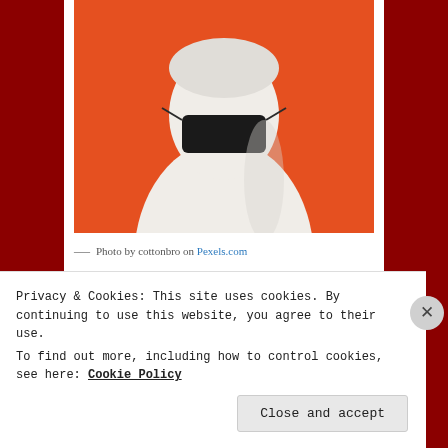[Figure (photo): White classical statue bust wearing a black face mask against an orange background]
— Photo by cottonbro on Pexels.com
Cometh the day
Privacy & Cookies: This site uses cookies. By continuing to use this website, you agree to their use.
To find out more, including how to control cookies, see here: Cookie Policy
Close and accept